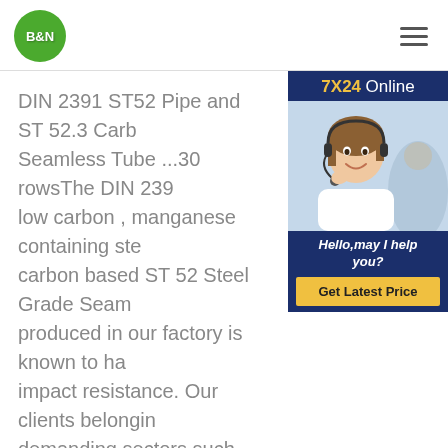[Figure (logo): B&N logo: white text on green circle]
[Figure (other): Hamburger menu icon (three horizontal lines)]
[Figure (photo): 7X24 Online chat widget with customer service representative photo, message 'Hello, may I help you?' and 'Get Latest Price' button]
DIN 2391 ST52 Pipe and ST 52.3 Carbon Seamless Tube ...30 rowsThe DIN 239... low carbon , manganese containing ste... carbon based ST 52 Steel Grade Seam... produced in our factory is known to ha... impact resistance. Our clients belongin... demanding sectors such as the construction industry as well as general eng...
Machining Service:   Cutting Service
Welding Service   Bending Service   Rolling Service
Grinding Service   Heat Treatment   Drilling Service